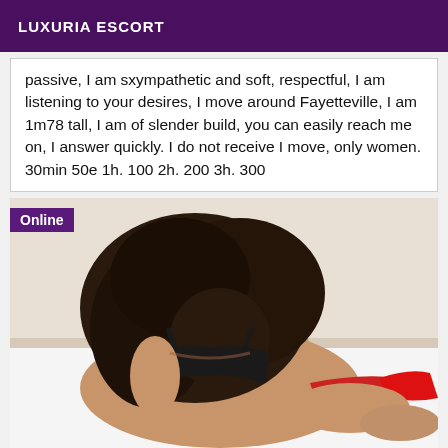LUXURIA ESCORT
passive, I am sxympathetic and soft, respectful, I am listening to your desires, I move around Fayetteville, I am 1m78 tall, I am of slender build, you can easily reach me on, I answer quickly. I do not receive I move, only women. 30min 50e 1h. 100 2h. 200 3h. 300
[Figure (photo): Woman with long dark curly hair wearing black lingerie and red underwear, posed on a white bed. An 'Online' badge is shown in the top-left corner of the image.]